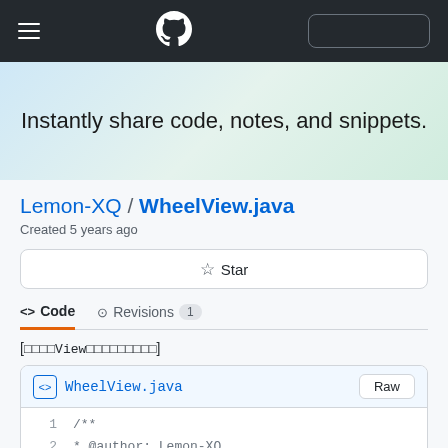GitHub Gist navigation header with hamburger menu, GitHub logo, and search box
Instantly share code, notes, and snippets.
Lemon-XQ / WheelView.java
Created 5 years ago
☆ Star
<> Code   -O- Revisions  1
[滚轮View控件的自定义实现]
WheelView.java   Raw
1   /**
2    * @author: Lemon-XQ